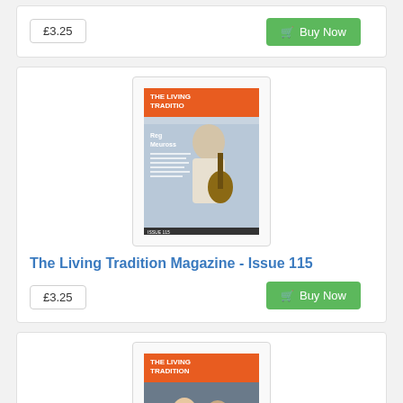£3.25
Buy Now
[Figure (photo): Cover of The Living Tradition Magazine Issue 115 showing a man playing guitar]
The Living Tradition Magazine - Issue 115
£3.25
Buy Now
[Figure (photo): Cover of The Living Tradition Magazine Issue 116 showing Vicki Swan & Jonny Dyer]
The Living Tradition Magazine - Issue 116